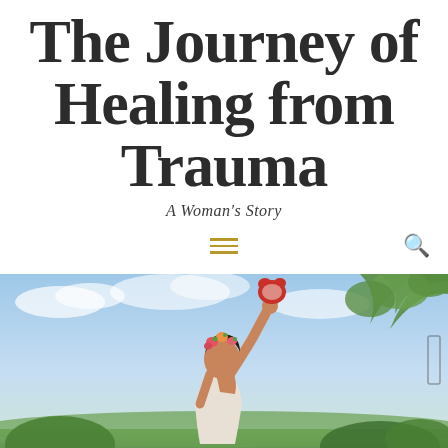The Journey of Healing from Trauma
A Woman's Story
[Figure (photo): A woman with a flower crown in her hair raises her arm holding a stuffed animal or toy up into a blue sky with clouds and green trees in the background.]